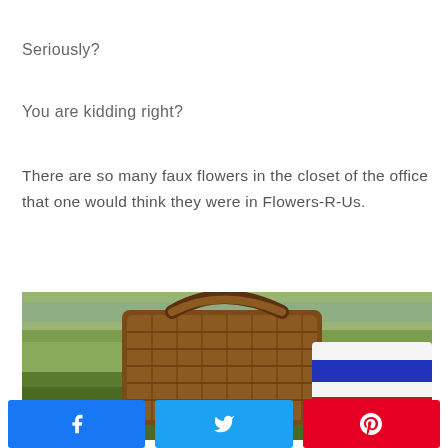Seriously?
You are kidding right?
There are so many faux flowers in the closet of the office that one would think they were in Flowers-R-Us.
[Figure (photo): Outdoor photo showing a wicker picnic basket on green grass near water, with a red-white-and-blue striped boater hat visible on the right side.]
Facebook share button, Twitter share button, Pinterest share button